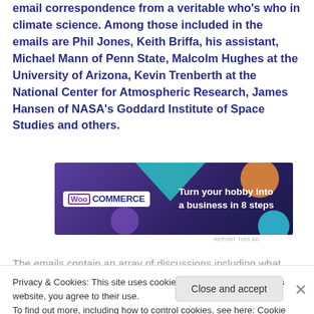email correspondence from a veritable who's who in climate science. Among those included in the emails are Phil Jones, Keith Briffa, his assistant, Michael Mann of Penn State, Malcolm Hughes at the University of Arizona, Kevin Trenberth at the National Center for Atmospheric Research, James Hansen of NASA's Goddard Institute of Space Studies and others.
[Figure (other): WooCommerce advertisement banner: 'Turn your hobby into a business in 8 steps']
The emails contain an array of discussions including what
Privacy & Cookies: This site uses cookies. By continuing to use this website, you agree to their use.
To find out more, including how to control cookies, see here: Cookie Policy